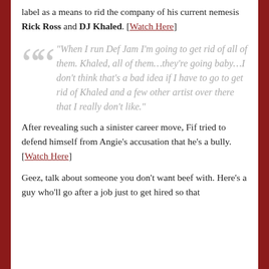label as a means to rid the company of his current nemesis Rick Ross and DJ Khaled. [Watch Here]
“When I run Def Jam I’m going to get rid of all of them. Khaled, all of them…they’re going baby…I don’t think that’s a bad idea if I have to go to get rid of Khaled and a few other artist over there that I really don’t like.”
After revealing such a sinister career move, Fif tried to defend himself from Angie’s accusation that he’s a bully. [Watch Here]
Geez, talk about someone you don’t want beef with. Here’s a guy who’ll go after a job just to get hired so that